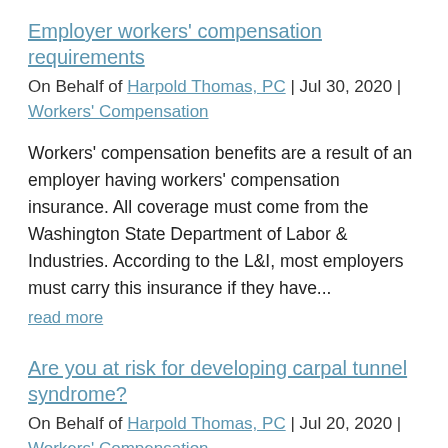Employer workers' compensation requirements
On Behalf of Harpold Thomas, PC | Jul 30, 2020 | Workers' Compensation
Workers' compensation benefits are a result of an employer having workers' compensation insurance. All coverage must come from the Washington State Department of Labor & Industries. According to the L&I, most employers must carry this insurance if they have...
read more
Are you at risk for developing carpal tunnel syndrome?
On Behalf of Harpold Thomas, PC | Jul 20, 2020 | Workers' Compensation
Carpal tunnel syndrome is a very painful condition